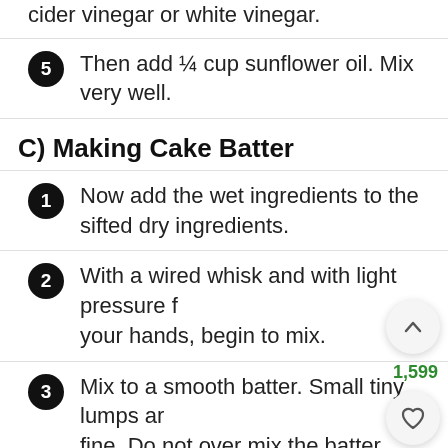cider vinegar or white vinegar.
5 Then add ¼ cup sunflower oil. Mix very well.
C) Making Cake Batter
1 Now add the wet ingredients to the sifted dry ingredients.
2 With a wired whisk and with light pressure from your hands, begin to mix.
3 Mix to a smooth batter. Small tiny lumps are fine. Do not over mix the batter.
4 Pour the eggless cake batter in the cake pan, gently tap and shake the sides so as to even the batter in the pan.